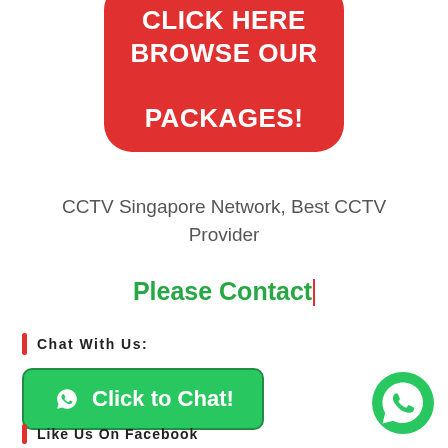[Figure (illustration): Red rounded rectangle button with white bold text: CLICK HERE BROWSE OUR PACKAGES!]
CCTV Singapore Network, Best CCTV Provider
Please Contact|
Chat With Us:
[Figure (illustration): Green rounded rectangle button with WhatsApp icon and white bold text: Click to Chat!]
[Figure (illustration): Green circular WhatsApp floating chat button at bottom right]
Like Us On Facebook